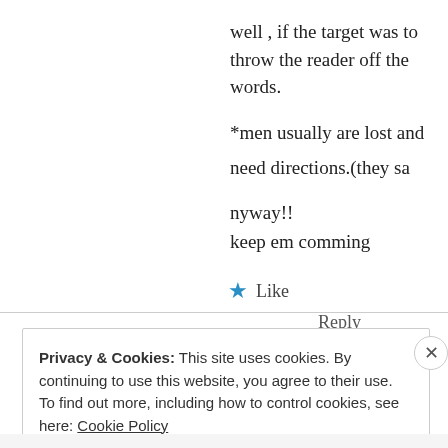well , if the target was to throw the reader off the words.
*men usually are lost and need directions.(they say
nyway!!
keep em comming
★ Like
Reply
Privacy & Cookies: This site uses cookies. By continuing to use this website, you agree to their use.
To find out more, including how to control cookies, see here: Cookie Policy
Close and accept